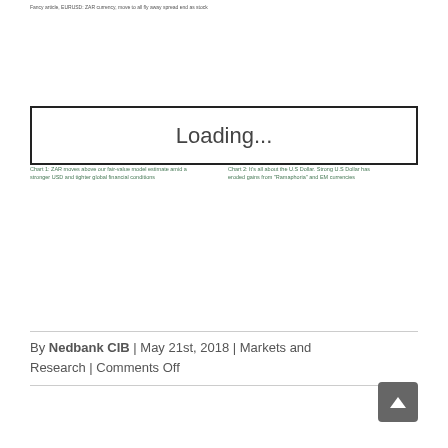Fancy article, EURUSD: ZAR currency, move to all fly away spread end as stock
[Figure (other): Loading... placeholder box indicating content is loading]
Chart 1: ZAR moves above our fair-value model estimate amid a stronger USD and tighter global financial conditions
Chart 2: It's all about the U.S Dollar. Strong U.S Dollar has eroded gains from "Ramaphoria" and EM currencies
By Nedbank CIB  |  May 21st, 2018  |  Markets and Research  |  Comments Off